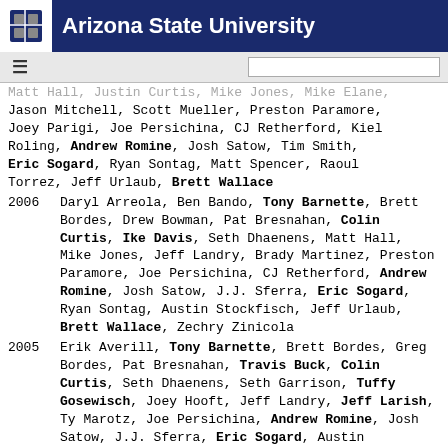Arizona State University
Matt Hall, Jason Curtis, Mike Jones, Mike Elane, Jason Mitchell, Scott Mueller, Preston Paramore, Joey Parigi, Joe Persichina, CJ Retherford, Kiel Roling, Andrew Romine, Josh Satow, Tim Smith, Eric Sogard, Ryan Sontag, Matt Spencer, Raoul Torrez, Jeff Urlaub, Brett Wallace
2006: Daryl Arreola, Ben Bando, Tony Barnette, Brett Bordes, Drew Bowman, Pat Bresnahan, Colin Curtis, Ike Davis, Seth Dhaenens, Matt Hall, Mike Jones, Jeff Landry, Brady Martinez, Preston Paramore, Joe Persichina, CJ Retherford, Andrew Romine, Josh Satow, J.J. Sferra, Eric Sogard, Ryan Sontag, Austin Stockfisch, Jeff Urlaub, Brett Wallace, Zechry Zinicola
2005: Erik Averill, Tony Barnette, Brett Bordes, Greg Bordes, Pat Bresnahan, Travis Buck, Colin Curtis, Seth Dhaenens, Seth Garrison, Tuffy Gosewisch, Joey Hooft, Jeff Landry, Jeff Larish, Ty Marotz, Joe Persichina, Andrew Romine, Josh Satow, J.J. Sferra, Eric Sogard, Austin Stockfisch, Jason Urquidez, Eric Williams, Zechry Zinicola
2004: Josh Asanovich, Erik Averill, Josh Blake, Brett Bordes, Pat Bresnahan, Travis Buck, Nick Cadena, Pat Cassa, Chris Cook, Colin Curtis, Seth Dhaenens, Tuffy Gosewisch, Jeff Larish, Ty Marotz, Jeff Mousser, Dustin Pedroia, Joe Persichina, Jason Urquidez, Nick Walsh, Travis Webb, Zechry Zinicola